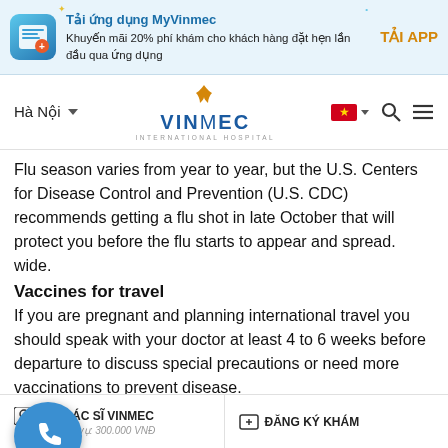[Figure (screenshot): VinMec app advertisement banner with icon, promotional text about 20% fee discount, and TẢI APP button]
[Figure (screenshot): VinMec International Hospital navigation bar with Hà Nội city selector, VinMec logo, Vietnamese flag, search and menu icons]
Flu season varies from year to year, but the U.S. Centers for Disease Control and Prevention (U.S. CDC) recommends getting a flu shot in late October that will protect you before the flu starts to appear and spread. wide.
Vaccines for travel
If you are pregnant and planning international travel you should speak with your doctor at least 4 to 6 weeks before departure to discuss special precautions or need more vaccinations to prevent disease.
Hepatitis B
Babies born to mothers with hepatitis B have an increased risk of contracting hepatitis B during birth. You need to be tested for hepatitis B and your doctor will advise whether you need to be...
HỎI BÁC SĨ VINMEC  Phí dịch vụ: 300.000 VNĐ    ĐĂNG KÝ KHÁM